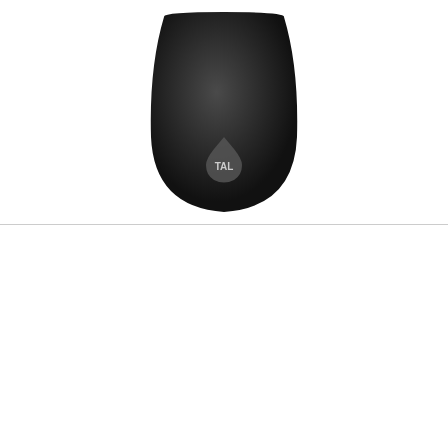[Figure (photo): A single black matte stemless wine tumbler with TAL logo (water drop shape with TAL text) on a white background, viewed from slightly above.]
[Figure (photo): Two teal/turquoise stemless wine tumblers with clear lids and silver stainless steel rims, side by side on a white background, with '2 Pack' text label above them in orange and black bold font.]